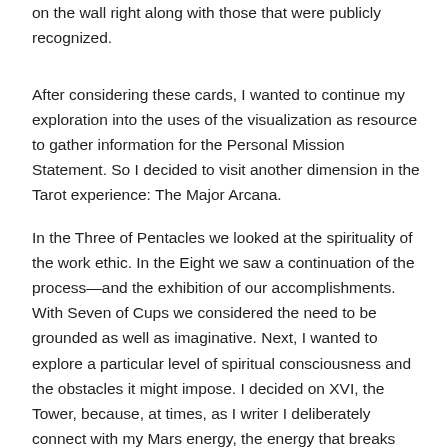on the wall right along with those that were publicly recognized.
After considering these cards, I wanted to continue my exploration into the uses of the visualization as resource to gather information for the Personal Mission Statement. So I decided to visit another dimension in the Tarot experience: The Major Arcana.
In the Three of Pentacles we looked at the spirituality of the work ethic. In the Eight we saw a continuation of the process—and the exhibition of our accomplishments. With Seven of Cups we considered the need to be grounded as well as imaginative. Next, I wanted to explore a particular level of spiritual consciousness and the obstacles it might impose. I decided on XVI, the Tower, because, at times, as I writer I deliberately connect with my Mars energy, the energy that breaks down forms